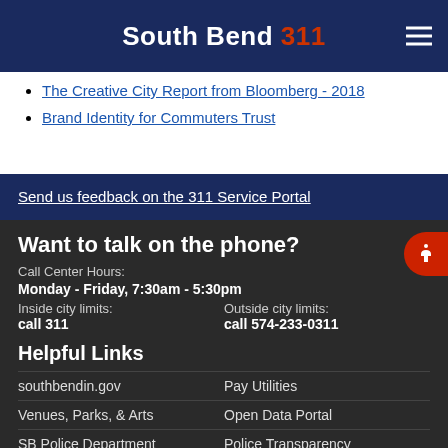South Bend 311
The Creative City Report from Bloomberg - 2018
Brand Identity for Commuters Trust
Send us feedback on the 311 Service Portal
Want to talk on the phone?
Call Center Hours:
Monday - Friday, 7:30am - 5:30pm
Inside city limits:
call 311
Outside city limits:
call 574-233-0311
Helpful Links
southbendin.gov
Venues, Parks, & Arts
SB Police Department
Pay Utilities
Open Data Portal
Police Transparency